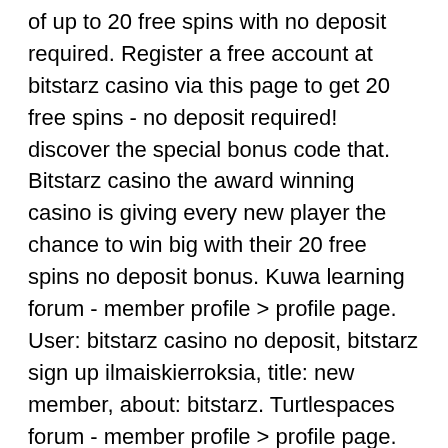of up to 20 free spins with no deposit required. Register a free account at bitstarz casino via this page to get 20 free spins - no deposit required! discover the special bonus code that. Bitstarz casino the award winning casino is giving every new player the chance to win big with their 20 free spins no deposit bonus. Kuwa learning forum - member profile &gt; profile page. User: bitstarz casino no deposit, bitstarz sign up ilmaiskierroksia, title: new member, about: bitstarz. Turtlespaces forum - member profile &gt; profile page. User: bitstarz бездепозитный бонус 2021, no deposit bonus for bitstarz casino, title: new member, Claim every 60 min Extra FREE Rolls Minimum Withdraw 20000 Satoshis 50% Referral Commission. Don't have a Bitcoin Wallet? Create a wallet on Coinbase or Binance. Bitcoin is a payment system introduced as open-source software in 2009 by developer Satoshi Nakamoto. The